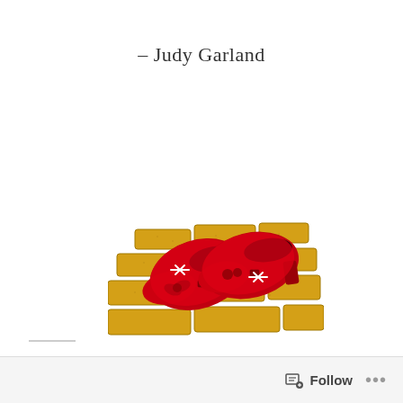– Judy Garland
[Figure (illustration): Illustration of Dorothy's ruby red slippers on yellow brick road bricks. Two sparkling red shoes with bows and buckles, on a perspective-angled field of golden yellow bricks. White sparkle highlights on the shoes.]
Follow ...